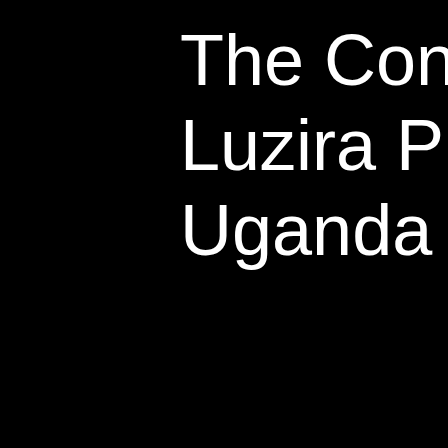The Condemned at Luzira Prison, Kampala, Uganda